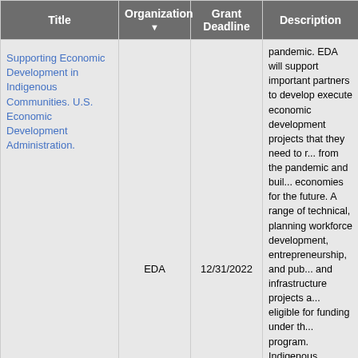| Title | Organization | Grant Deadline | Description |
| --- | --- | --- | --- |
| Supporting Economic Development in Indigenous Communities. U.S. Economic Development Administration. | EDA | 12/31/2022 | pandemic. EDA will support important partners to develop execute economic development projects that they need to recover from the pandemic and build economies for the future. A range of technical, planning workforce development, entrepreneurship, and public and infrastructure projects are eligible for funding under the program. Indigenous communities are also eligible and encouraged to apply under all of EDA's other programs. For more information on how to apply, visit: https://eda.gov/arpa/indigenous |
| Agriculture of |  |  | Deadline Passed 10/07/20 Deadline Unknown for 20 Ag of the Middle Accelerator two-year business development |